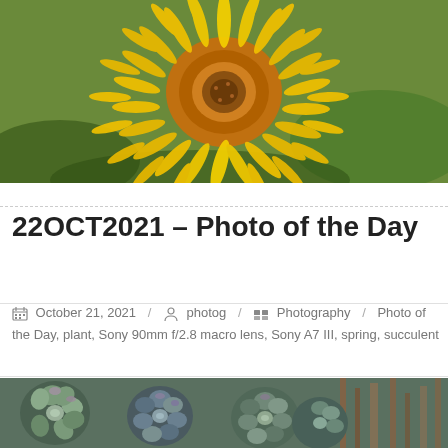[Figure (photo): Close-up macro photo of a yellow dandelion flower filling the frame, bright yellow petals radiating from center, green background visible at edges.]
22OCT2021 – Photo of the Day
October 21, 2021 / photog / Photography / Photo of the Day, plant, Sony 90mm f/2.8 macro lens, Sony A7 III, spring, succulent
[Figure (photo): Close-up photo of succulent plants with rosette shapes, bluish-green and purple tones, wooden sticks visible in the background.]